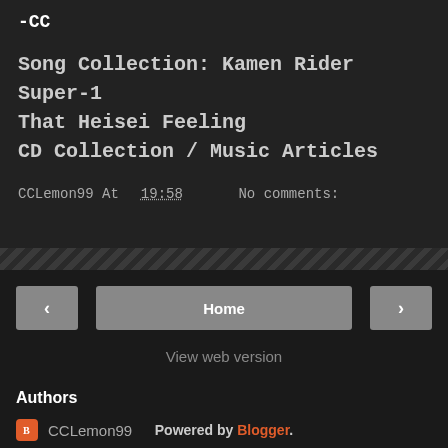-CC
Song Collection: Kamen Rider Super-1 That Heisei Feeling CD Collection / Music Articles
CCLemon99 At 19:58   No comments:
Home
View web version
Authors
CCLemon99
Derachi
Powered by Blogger.